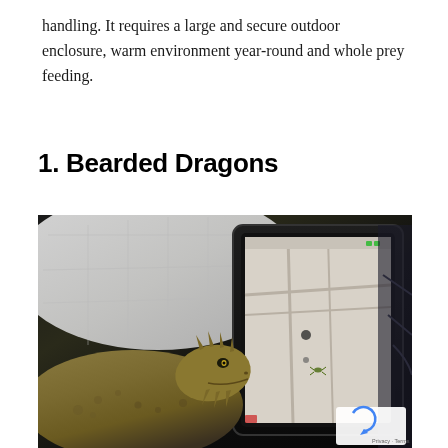handling. It requires a large and secure outdoor enclosure, warm environment year-round and whole prey feeding.
1. Bearded Dragons
[Figure (photo): A bearded dragon lizard looking at a smartphone screen displaying a map or game, with white fabric in the background. A reCAPTCHA watermark appears in the bottom right corner with 'Privacy · Terms' text.]